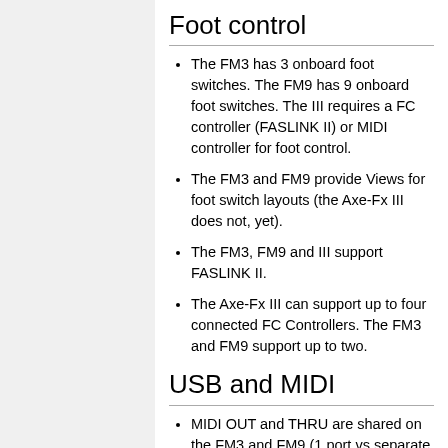Foot control
The FM3 has 3 onboard foot switches. The FM9 has 9 onboard foot switches. The III requires a FC controller (FASLINK II) or MIDI controller for foot control.
The FM3 and FM9 provide Views for foot switch layouts (the Axe-Fx III does not, yet).
The FM3, FM9 and III support FASLINK II.
The Axe-Fx III can support up to four connected FC Controllers. The FM3 and FM9 support up to two.
USB and MIDI
MIDI OUT and THRU are shared on the FM3 and FM9 (1 port vs separate